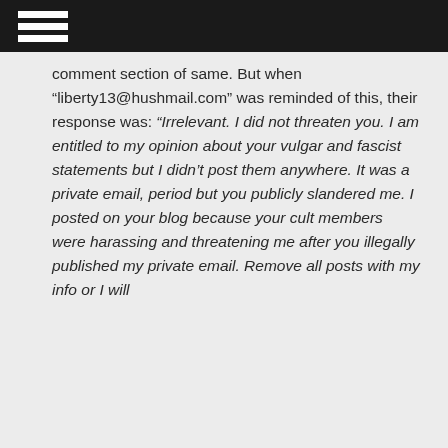comment section of same. But when “liberty13@hushmail.com” was reminded of this, their response was: “Irrelevant. I did not threaten you. I am entitled to my opinion about your vulgar and fascist statements but I didn’t post them anywhere. It was a private email, period but you publicly slandered me. I posted on your blog because your cult members were harassing and threatening me after you illegally published my private email. Remove all posts with my info or I will...